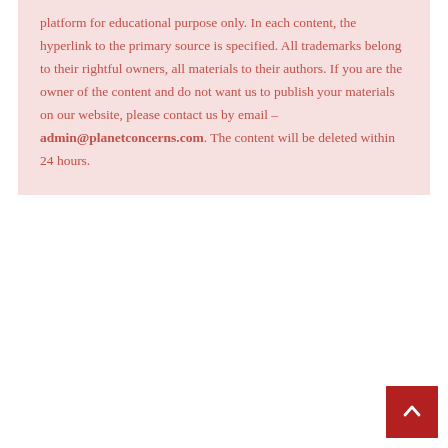platform for educational purpose only. In each content, the hyperlink to the primary source is specified. All trademarks belong to their rightful owners, all materials to their authors. If you are the owner of the content and do not want us to publish your materials on our website, please contact us by email – admin@planetconcerns.com. The content will be deleted within 24 hours.
[Figure (other): Red scroll-to-top button with white upward arrow in the bottom-right corner]